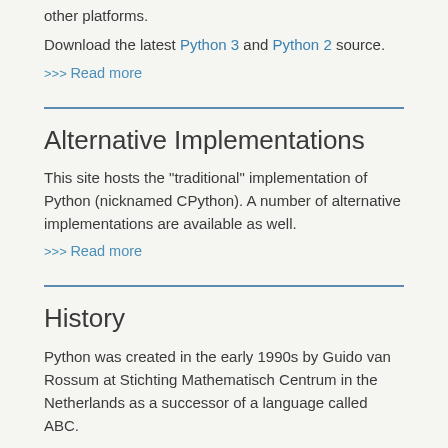other platforms.
Download the latest Python 3 and Python 2 source.
>>> Read more
Alternative Implementations
This site hosts the "traditional" implementation of Python (nicknamed CPython). A number of alternative implementations are available as well.
>>> Read more
History
Python was created in the early 1990s by Guido van Rossum at Stichting Mathematisch Centrum in the Netherlands as a successor of a language called ABC.